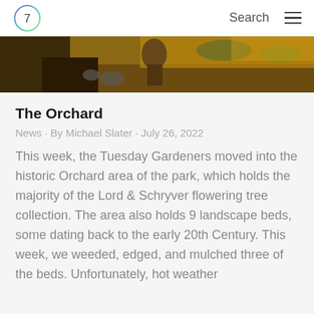7 | Search
[Figure (photo): Outdoor garden/orchard scene showing a person working in a park setting with mulch, rocks, and trees visible]
The Orchard
News · By Michael Slater · July 26, 2022
This week, the Tuesday Gardeners moved into the historic Orchard area of the park, which holds the majority of the Lord & Schryver flowering tree collection. The area also holds 9 landscape beds, some dating back to the early 20th Century. This week, we weeded, edged, and mulched three of the beds. Unfortunately, hot weather